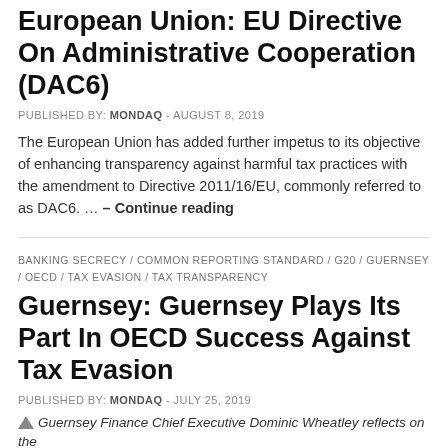European Union: EU Directive On Administrative Cooperation (DAC6)
PUBLISHED BY: MONDAQ - AUGUST 8, 2019
The European Union has added further impetus to its objective of enhancing transparency against harmful tax practices with the amendment to Directive 2011/16/EU, commonly referred to as DAC6. … – Continue reading
BANKING SECRECY / COMMON REPORTING STANDARD / G20 / GUERNSEY / OECD / TAX EVASION / TAX TRANSPARENCY
Guernsey: Guernsey Plays Its Part In OECD Success Against Tax Evasion
PUBLISHED BY: MONDAQ - JULY 25, 2019
Guernsey Finance Chief Executive Dominic Wheatley reflects on the